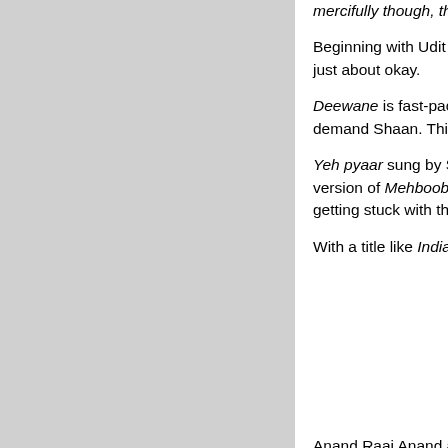mercifully though, the album consists of only six songs.
Beginning with Udit Narayan and Alka Yagnik exchanging... just about okay.
Deewane is fast-paced and is rendered by Alka Yagnik... demand Shaan. This one gets you to groove, to some...
Yeh pyaar sung by Sunidhi Chauhan and Richa Sharma... version of Mehboob mere (Fiza). Too bad for Chauhan... getting stuck with the 'item number' rut.
With a title like Indian, can a patriotic number be far be...
And so you have Roop Kun... bhakti song. Mind you, Wat... hawale watan saathiyon (H...
Jaana maine is mush unlim... gets to hear Abhijeet and Sa...
The last, and the least inter... Anand Raaj Anand and Alka Yagnik sounding thorough...
Leaves you with nothing, this music.
Still interested?
Also read:
On the sets of Indian